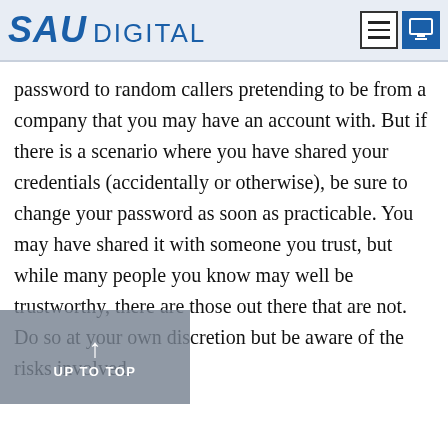SAU DIGITAL
password to random callers pretending to be from a company that you may have an account with. But if there is a scenario where you have shared your credentials (accidentally or otherwise), be sure to change your password as soon as practicable. You may have shared it with someone you trust, but while many people you know may well be trustworthy, there are those out there that are not. Do so at your own discretion but be aware of the risks involved.